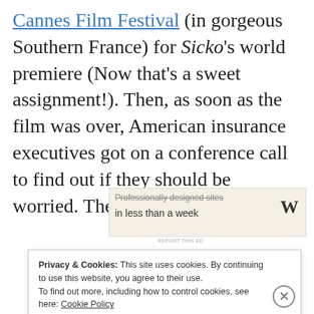Cannes Film Festival (in gorgeous Southern France) for Sicko's world premiere (Now that's a sweet assignment!). Then, as soon as the film was over, American insurance executives got on a conference call to find out if they should be worried. The answer? Yes.
[Figure (other): Advertisement banner with text 'Professionally designed sites in less than a week' and a WordPress logo W]
Privacy & Cookies: This site uses cookies. By continuing to use this website, you agree to their use. To find out more, including how to control cookies, see here: Cookie Policy
Close and accept